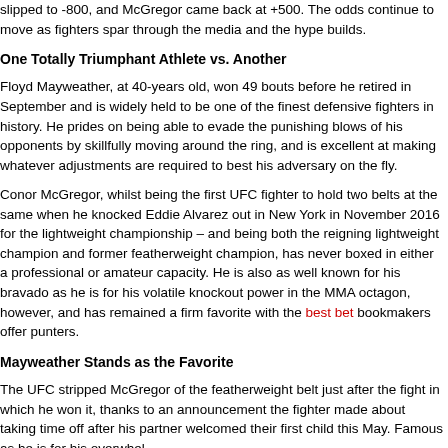slipped to -800, and McGregor came back at +500. The odds continue to move as fighters spar through the media and the hype builds.
One Totally Triumphant Athlete vs. Another
Floyd Mayweather, at 40-years old, won 49 bouts before he retired in September and is widely held to be one of the finest defensive fighters in history. He prides on being able to evade the punishing blows of his opponents by skillfully moving around the ring, and is excellent at making whatever adjustments are required to best his adversary on the fly.
Conor McGregor, whilst being the first UFC fighter to hold two belts at the same when he knocked Eddie Alvarez out in New York in November 2016 for the lightweight championship – and being both the reigning lightweight champion and former featherweight champion, has never boxed in either a professional or amateur capacity. He is also as well known for his bravado as he is for his volatile knockout power in the MMA octagon, however, and has remained a firm favorite with the best betting bookmakers offer punters.
Mayweather Stands as the Favorite
The UFC stripped McGregor of the featherweight belt just after the fight in which he won it, thanks to an announcement the fighter made about taking time off after his partner welcomed their first child this May. Famous as he is for his overwhelm